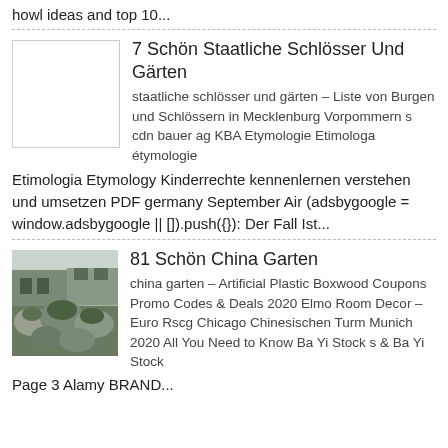howl ideas and top 10...
7 Schön Staatliche Schlösser Und Gärten
staatliche schlösser und gärten – Liste von Burgen und Schlössern in Mecklenburg Vorpommern s cdn bauer ag KBA Etymologie Etimologa étymologie Etimologia Etymology Kinderrechte kennenlernen verstehen und umsetzen PDF germany September Air (adsbygoogle = window.adsbygoogle || []).push({}): Der Fall Ist...
81 Schön China Garten
china garten – Artificial Plastic Boxwood Coupons Promo Codes & Deals 2020 Elmo Room Decor – Euro Rscg Chicago Chinesischen Turm Munich 2020 All You Need to Know Ba Yi Stock s & Ba Yi Stock Page 3 Alamy BRAND...